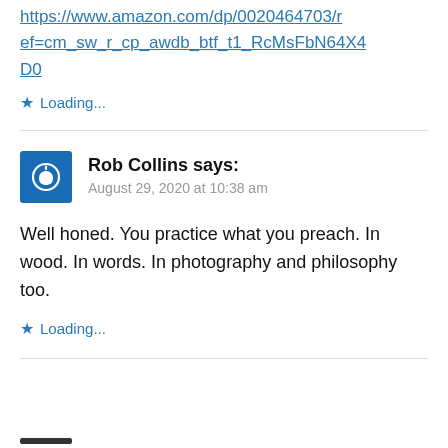https://www.amazon.com/dp/0020464703/ref=cm_sw_r_cp_awdb_btf_t1_RcMsFbN64X4D0
★ Loading...
Rob Collins says: August 29, 2020 at 10:38 am
Well honed. You practice what you preach. In wood. In words. In photography and philosophy too.
★ Loading...